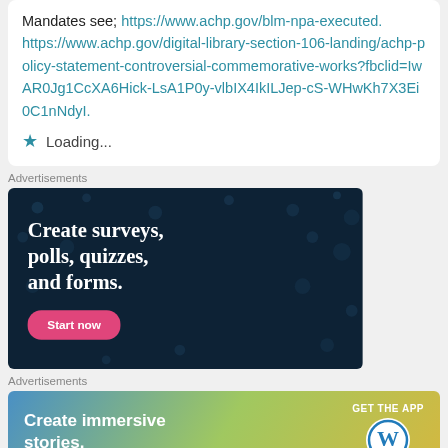Mandates see; https://www.achp.gov/blm-npa-executed. https://www.achp.gov/digital-library-section-106-landing/achp-policy-statement-controversial-commemorative-works?fbclid=IwAR0Jg1CcXA6Hick-LsA1P0y-vlbIX4IkILJep-cS-WHwKh7X3Ei0C1nNdyI.
Loading...
Advertisements
[Figure (screenshot): Dark navy advertisement banner: 'Create surveys, polls, quizzes, and forms.' with a pink 'Start now' button]
Advertisements
[Figure (screenshot): WordPress advertisement banner: 'Create immersive stories.' with 'GET THE APP' and WordPress logo on gradient background]